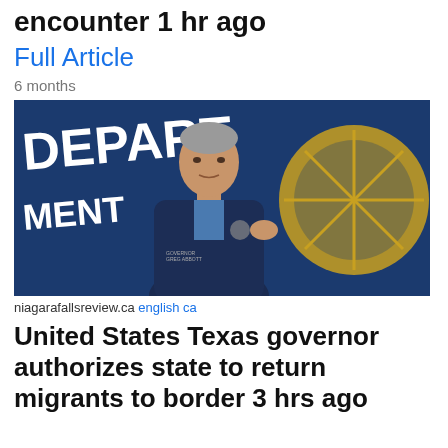killed a migrant in Border Patrol encounter 1 hr ago
Full Article
6 months
[Figure (photo): Man in dark jacket speaking at a podium with Department of Homeland Security star logo in background]
niagarafallsreview.ca english ca
United States Texas governor authorizes state to return migrants to border 3 hrs ago